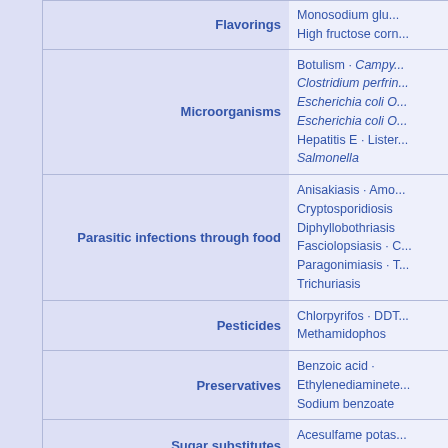| Category | Items |
| --- | --- |
| Flavorings | Monosodium glutamate · High fructose corn... |
| Microorganisms | Botulism · Campylo... · Clostridium perfrin... · Escherichia coli O... · Escherichia coli O... · Hepatitis E · Lister... · Salmonella |
| Parasitic infections through food | Anisakiasis · Amo... · Cryptosporidiosis · Diphyllobothriasis · Fasciolopsiasis · C... · Paragonimiasis · T... · Trichuriasis |
| Pesticides | Chlorpyrifos · DDT... · Methamidophos |
| Preservatives | Benzoic acid · Ethylenediaminete... · Sodium benzoate |
| Sugar substitutes | Acesulfame potas... · Sodium cyclama... |
| Toxins, poisons, environment pollution | Aflatoxin · Arsenic contamina... · Benzene in soft dr... · Mycotoxins · Shell... · Dieldrin · Nonylph... |